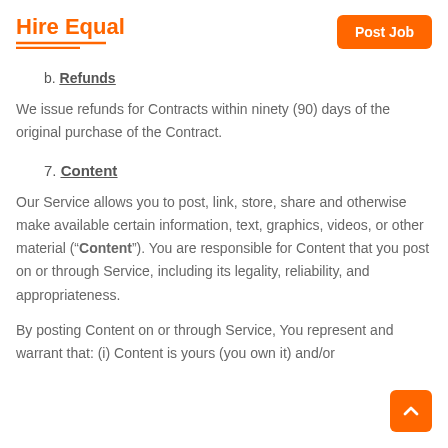Hire Equal | Post Job
b. Refunds
We issue refunds for Contracts within ninety (90) days of the original purchase of the Contract.
7. Content
Our Service allows you to post, link, store, share and otherwise make available certain information, text, graphics, videos, or other material (“Content”). You are responsible for Content that you post on or through Service, including its legality, reliability, and appropriateness.
By posting Content on or through Service, You represent and warrant that: (i) Content is yours (you own it) and/or